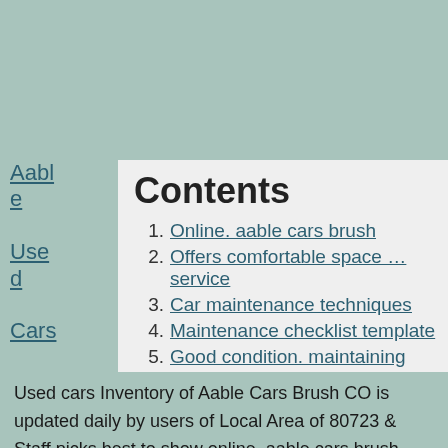Aable Used Cars Brush Co
Contents
1. Online. aable cars brush
2. Offers comfortable space … service
3. Car maintenance techniques
4. Maintenance checklist template
5. Good condition. maintaining
Used cars Inventory of Aable Cars Brush CO is updated daily by users of Local Area of 80723 & Staff picks best to show online. aable cars brush 370-842-3434 ... This Portion of the